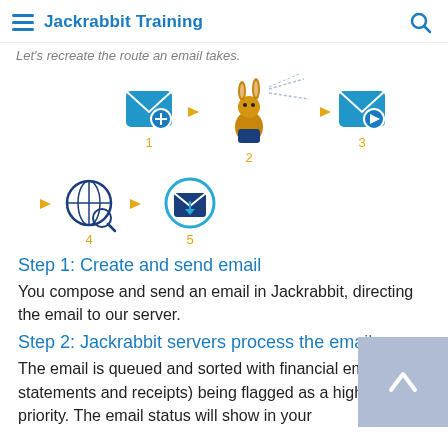Jackrabbit Training
Let's recreate the route an email takes.
[Figure (infographic): 5-step email process flow diagram with icons: 1) envelope with plus, 2) Jackrabbit mascot sending mail, 3) envelope with send icon, 4) globe with magnifier, 5) circled download envelope. Steps labeled 1-5 in orange below icons, connected by orange arrows.]
Step 1: Create and send email
You compose and send an email in Jackrabbit, directing the email to our server.
Step 2: Jackrabbit servers process the email
The email is queued and sorted with financial emails (e.g., statements and receipts) being flagged as a higher priority. The email status will show in your